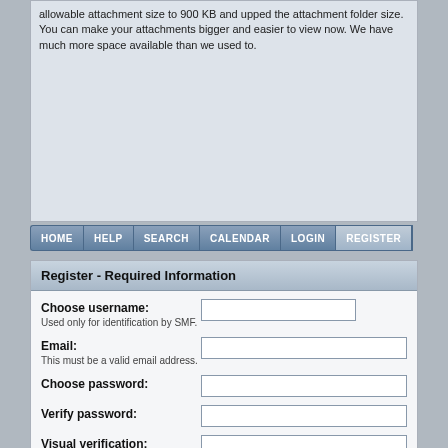allowable attachment size to 900 KB and upped the attachment folder size. You can make your attachments bigger and easier to view now. We have much more space available than we used to.
[Figure (screenshot): Navigation bar with tabs: HOME, HELP, SEARCH, CALENDAR, LOGIN, REGISTER (active)]
Register - Required Information
Choose username:
Used only for identification by SMF.
Email:
This must be a valid email address.
Choose password:
Verify password:
Visual verification:
Type the letters shown in the picture
Listen to the letters | Request another image